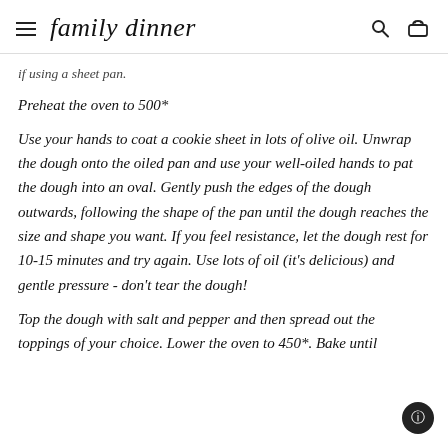family dinner
if using a sheet pan.
Preheat the oven to 500*
Use your hands to coat a cookie sheet in lots of olive oil. Unwrap the dough onto the oiled pan and use your well-oiled hands to pat the dough into an oval. Gently push the edges of the dough outwards, following the shape of the pan until the dough reaches the size and shape you want. If you feel resistance, let the dough rest for 10-15 minutes and try again. Use lots of oil (it's delicious) and gentle pressure - don't tear the dough!
Top the dough with salt and pepper and then spread out the toppings of your choice. Lower the oven to 450*. Bake until